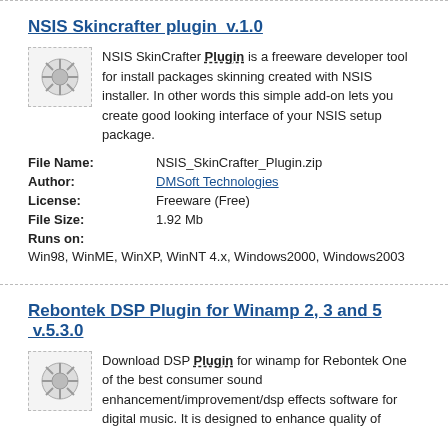NSIS Skincrafter plugin  v.1.0
NSIS SkinCrafter Plugin is a freeware developer tool for install packages skinning created with NSIS installer. In other words this simple add-on lets you create good looking interface of your NSIS setup package.
| File Name: | NSIS_SkinCrafter_Plugin.zip |
| Author: | DMSoft Technologies |
| License: | Freeware (Free) |
| File Size: | 1.92 Mb |
| Runs on: | Win98, WinME, WinXP, WinNT 4.x, Windows2000, Windows2003 |
Rebontek DSP Plugin for Winamp 2, 3 and 5  v.5.3.0
Download DSP Plugin for winamp for Rebontek One of the best consumer sound enhancement/improvement/dsp effects software for digital music. It is designed to enhance quality of